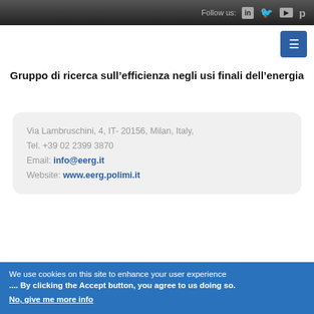Follow us:
Gruppo di ricerca sull’efficienza negli usi finali dell’energia
Via Lambruschini, 4, IT- 20156, Milan, Italy,
Tel. +39 02 2399 3870
Email: info@eerg.it
Website: www.eerg.polimi.it
We use cookies on this site to enhance your user experience
.... By clicking the Accept button, you agree to us doing so.
No, give me more info